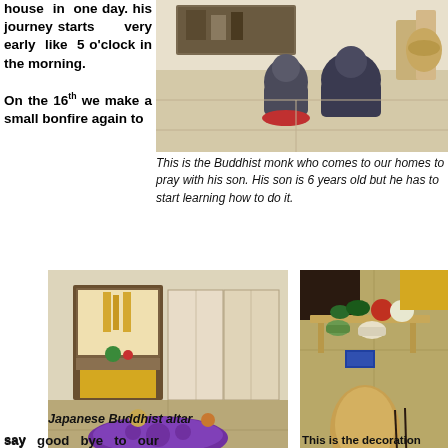house in one day. his journey starts very early like 5 o'clock in the morning.

On the 16th we make a small bonfire again to
[Figure (photo): Two people in traditional Japanese clothing kneeling on a tatami mat floor in a Japanese room, facing away from the camera toward an altar area. Red cushion visible.]
This is the Buddhist monk who comes to our homes to pray with his son. His son is 6 years old but he has to start learning how to do it.
[Figure (photo): Japanese Buddhist altar (butsudan) in a tatami room with offerings and a purple cushion/mat on the floor in front of it.]
Japanese Buddhist altar
[Figure (photo): Close-up of a Buddhist altar offering table with vegetables, fruits, bowls, incense, and decorative items on a tatami mat.]
say good bye to our ancestor in
This is the decoration